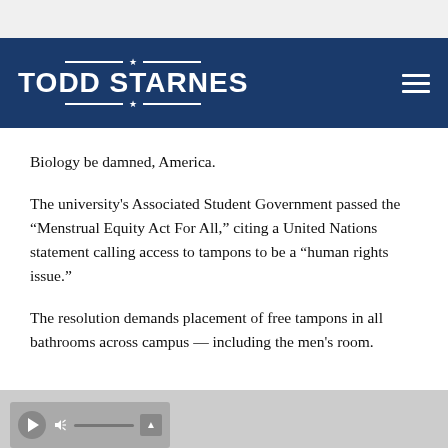TODD STARNES
Biology be damned, America.
The university's Associated Student Government passed the “Menstrual Equity Act For All,” citing a United Nations statement calling access to tampons to be a “human rights issue.”
The resolution demands placement of free tampons in all bathrooms across campus — including the men's room.